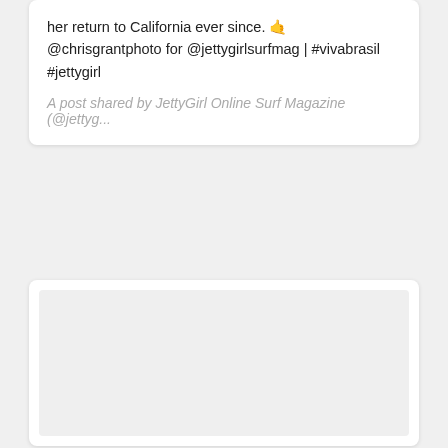her return to California ever since. 🤙 @chrisgrantphoto for @jettygirlsurfmag | #vivabrasil #jettygirl
A post shared by JettyGirl Online Surf Magazine (@jettyg...
[Figure (photo): Empty/placeholder image area with light gray background inside a white card]